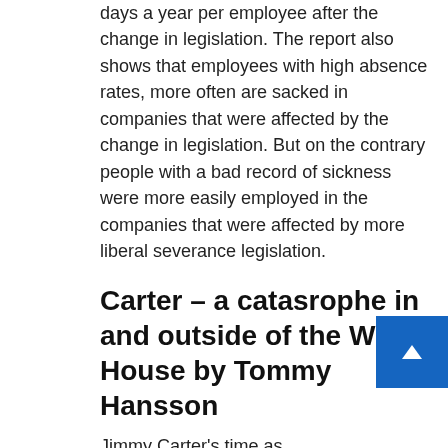days a year per employee after the change in legislation. The report also shows that employees with high absence rates, more often are sacked in companies that were affected by the change in legislation. But on the contrary people with a bad record of sickness were more easily employed in the companies that were affected by more liberal severance legislation.
Carter – a catasrophe in and outside of the White House by Tommy Hansson
Jimmy Carter's time as president of the United States were hit by catastrophes and fatal mistakes to a large extent. These affected both internal and externnal policies. The peanut farmer from Georgia put the US into a crisis in most political areas, and he did not even have the confidence of his fellow